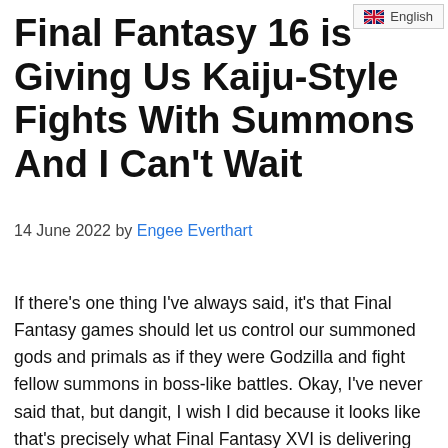English
Final Fantasy 16 is Giving Us Kaiju-Style Fights With Summons And I Can't Wait
14 June 2022 by Engee Everthart
If there's one thing I've always said, it's that Final Fantasy games should let us control our summoned gods and primals as if they were Godzilla and fight fellow summons in boss-like battles. Okay, I've never said that, but dangit, I wish I did because it looks like that's precisely what Final Fantasy XVI is delivering